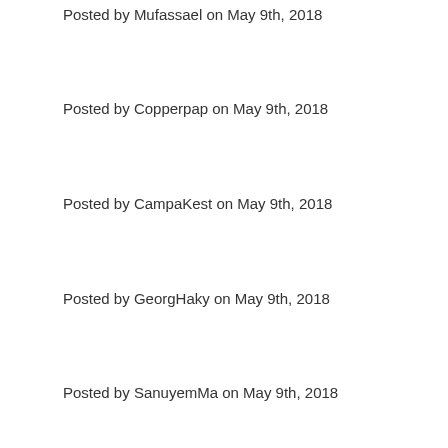Posted by Mufassael on May 9th, 2018
Posted by Copperpap on May 9th, 2018
Posted by CampaKest on May 9th, 2018
Posted by GeorgHaky on May 9th, 2018
Posted by SanuyemMa on May 9th, 2018
Posted by Alineve on May 9th, 2018
Posted by XardasZew on May 9th, 2018
Posted by RomanHer on May 9th, 2018
Posted by Stejnarviz on May 9th, 2018
Posted by IomarFuh on May 9th, 2018
Posted by Tamkoschses on May 9th, 2018
Posted by Copperpap on May 9th, 2018